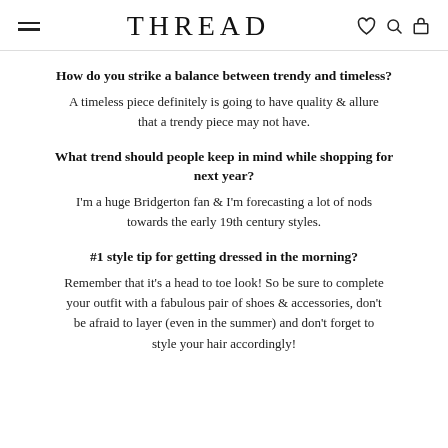THREAD
How do you strike a balance between trendy and timeless?
A timeless piece definitely is going to have quality & allure that a trendy piece may not have.
What trend should people keep in mind while shopping for next year?
I'm a huge Bridgerton fan & I'm forecasting a lot of nods towards the early 19th century styles.
#1 style tip for getting dressed in the morning?
Remember that it's a head to toe look! So be sure to complete your outfit with a fabulous pair of shoes & accessories, don't be afraid to layer (even in the summer) and don't forget to style your hair accordingly!